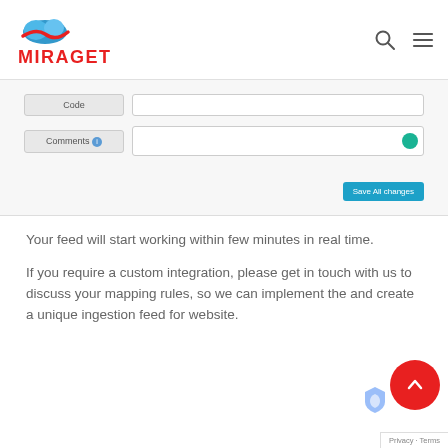[Figure (logo): Miraget logo with cloud icon and red text]
[Figure (screenshot): Form UI snippet showing Code and Comments fields with a Save All changes button]
Your feed will start working within few minutes in real time.
If you require a custom integration, please get in touch with us to discuss your mapping rules, so we can implement the and create a unique ingestion feed for website.